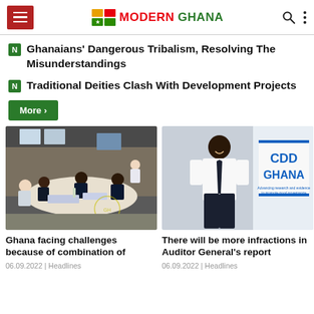Modern Ghana
Ghanaians' Dangerous Tribalism, Resolving The Misunderstandings
Traditional Deities Clash With Development Projects
More >
[Figure (photo): People seated around a round table in a meeting room, appearing to be in a formal discussion.]
[Figure (photo): A man in a white shirt and dark tie standing in front of a CDD Ghana banner/sign.]
Ghana facing challenges because of combination of
06.09.2022 | Headlines
There will be more infractions in Auditor General's report
06.09.2022 | Headlines